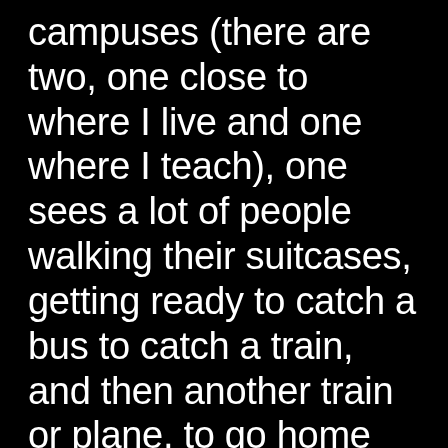campuses (there are two, one close to where I live and one where I teach), one sees a lot of people walking their suitcases, getting ready to catch a bus to catch a train, and then another train or plane, to go home and hang out with the family. This will almost certainly involve having two dishes for good luck: fish and dumplings. There are also all kinds of New Year's candy available, and there